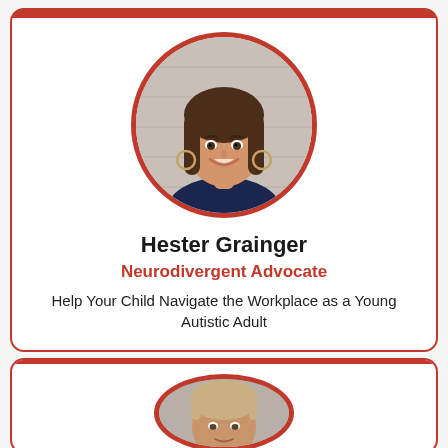[Figure (photo): Circular portrait photo of Hester Grainger, a woman with long brown hair, smiling, wearing a dark navy top and hoop earrings, with a light brick background. Framed in a dark red circle border.]
Hester Grainger
Neurodivergent Advocate
Help Your Child Navigate the Workplace as a Young Autistic Adult
[Figure (photo): Partial circular portrait photo of a man with light brown/blonde hair, wearing a suit, partially visible at the bottom of the page. Framed in a dark red circle border.]